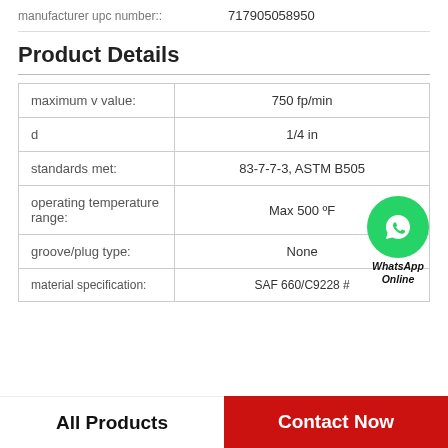manufacturer upc number:: 717905058950
Product Details
|  |  |
| --- | --- |
| maximum v value: | 750 fp/min |
| d | 1/4 in |
| standards met: | 83-7-7-3, ASTM B505 |
| operating temperature range: | Max 500 ºF |
| groove/plug type: | None |
| material specification: | SAF 660/C9228 #... |
All Products   Contact Now